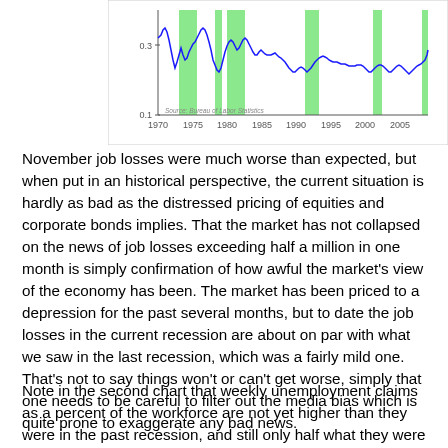[Figure (continuous-plot): Line chart (blue line) showing a time series from 1970 to 2007, with y-axis values around 0.1 to 0.3+. Green vertical shaded bars mark recession periods. X-axis labels: 1970, 1975, 1980, 1985, 1990, 1995, 2000, 2005. Y-axis labels visible: 0.3, 0.1. Source label: Bureau of Labor Statistics.]
November job losses were much worse than expected, but when put in an historical perspective, the current situation is hardly as bad as the distressed pricing of equities and corporate bonds implies. That the market has not collapsed on the news of job losses exceeding half a million in one month is simply confirmation of how awful the market's view of the economy has been. The market has been priced to a depression for the past several months, but to date the job losses in the current recession are about on par with what we saw in the last recession, which was a fairly mild one. That's not to say things won't or can't get worse, simply that one needs to be careful to filter out the media bias which is quite prone to exaggerate any bad news.
Note in the second chart that weekly unemployment claims as a percent of the workforce are not yet higher than they were in the past recession, and still only half what they were in the 1981-82 recession.